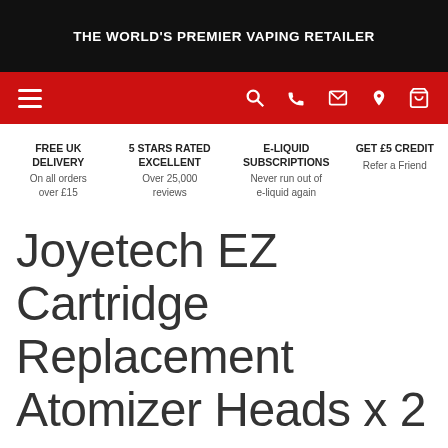THE WORLD'S PREMIER VAPING RETAILER
[Figure (screenshot): Red navigation bar with hamburger menu icon on left and search, phone, email, location, and basket icons on the right]
FREE UK DELIVERY
On all orders over £15
5 STARS RATED EXCELLENT
Over 25,000 reviews
E-LIQUID SUBSCRIPTIONS
Never run out of e-liquid again
GET £5 CREDIT
Refer a Friend
Joyetech EZ Cartridge Replacement Atomizer Heads x 2